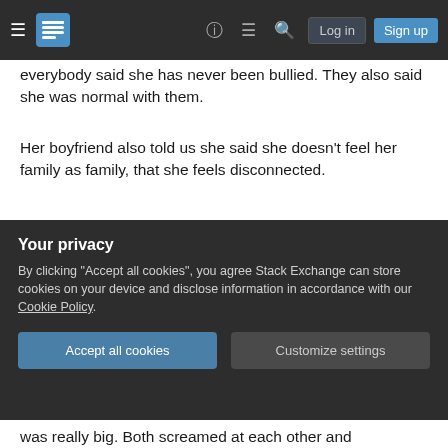Stack Exchange navigation bar with hamburger menu, logo, help, chat, search icons, Log in and Sign up buttons
everybody said she has never been bullied. They also said she was normal with them.
Her boyfriend also told us she said she doesn't feel her family as family, that she feels disconnected.
All made sense. She's an only child and doesn't have cousins of her age, so since she was little she laid on her best friends and always said "family is not your relatives, but those who loves you, supports you and try to understand you". My relatives has never given to her what she's looking,
was really big. Both screamed at each other and
Your privacy
By clicking "Accept all cookies", you agree Stack Exchange can store cookies on your device and disclose information in accordance with our Cookie Policy.
Accept all cookies   Customize settings